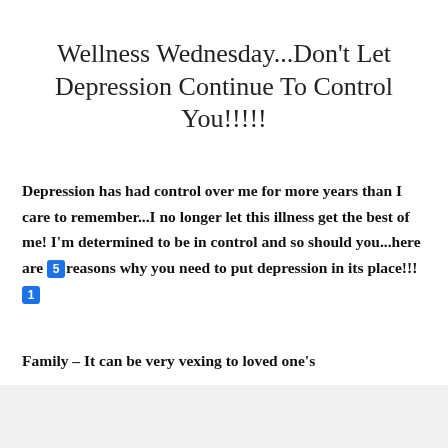Wellness Wednesday...Don't Let Depression Continue To Control You!!!!!
Depression has had control over me for more years than I care to remember...I no longer let this illness get the best of me! I'm determined to be in control and so should you...here are 5 reasons why you need to put depression in its place!!! 1
Family – It can be very vexing to loved one's
[Figure (screenshot): DuckDuckGo advertisement banner: orange background with text 'Search, browse, and email with more privacy. All in One Free App' and a phone image with DuckDuckGo logo]